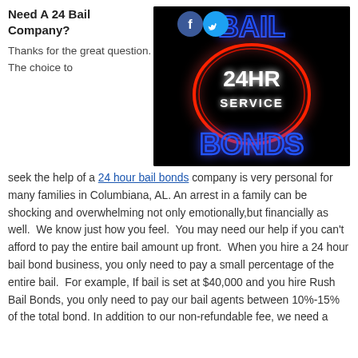Need A 24 Bail Company?
[Figure (photo): Neon sign showing '24HR SERVICE BAIL BONDS' in red and blue neon lights on a black background, with Facebook and Twitter social media icons in the upper left.]
Thanks for the great question. The choice to seek the help of a 24 hour bail bonds company is very personal for many families in Columbiana, AL. An arrest in a family can be shocking and overwhelming not only emotionally,but financially as well. We know just how you feel. You may need our help if you can't afford to pay the entire bail amount up front. When you hire a 24 hour bail bond business, you only need to pay a small percentage of the entire bail. For example, If bail is set at $40,000 and you hire Rush Bail Bonds, you only need to pay our bail agents between 10%-15% of the total bond. In addition to our non-refundable fee, we need a